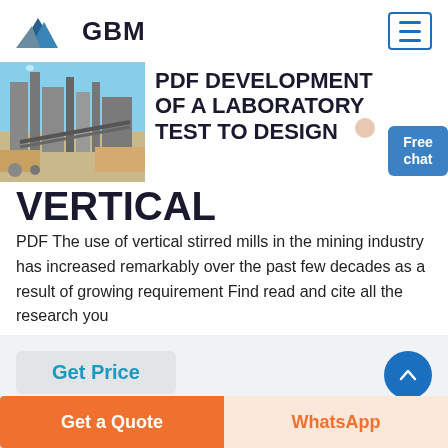GBM
[Figure (photo): Industrial mining facility with large equipment, conveyor belts and towers against a blue sky]
PDF DEVELOPMENT OF A LABORATORY TEST TO DESIGN VERTICAL
PDF The use of vertical stirred mills in the mining industry has increased remarkably over the past few decades as a result of growing requirement Find read and cite all the research you
Get Price
Free chat
Get a Quote
WhatsApp